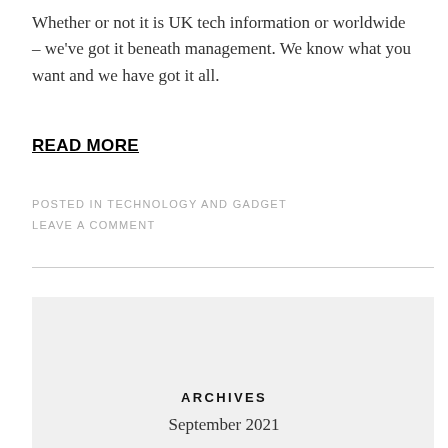Whether or not it is UK tech information or worldwide – we've got it beneath management. We know what you want and we have got it all.
READ MORE
POSTED IN TECHNOLOGY AND GADGET
LEAVE A COMMENT
ARCHIVES
September 2021